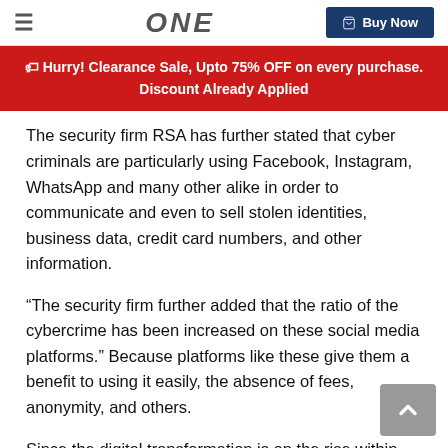≡  ONE  Buy Now
Hurry! Clearance Sale, Upto 75% OFF on every purchase. Discount Already Applied
The security firm RSA has further stated that cyber criminals are particularly using Facebook, Instagram, WhatsApp and many other alike in order to communicate and even to sell stolen identities, business data, credit card numbers, and other information.
“The security firm further added that the ratio of the cybercrime has been increased on these social media platforms.” Because platforms like these give them a benefit to using it easily, the absence of fees, anonymity, and others.
Since the digital transformation is on the rise within business organizations and cybercrime continues. The business organizations equipped with digital devices